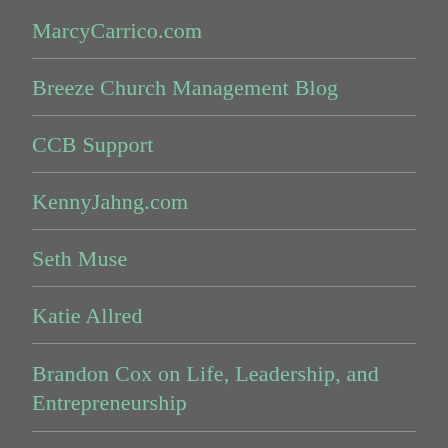MarcyCarrico.com
Breeze Church Management Blog
CCB Support
KennyJahng.com
Seth Muse
Katie Allred
Brandon Cox on Life, Leadership, and Entrepreneurship